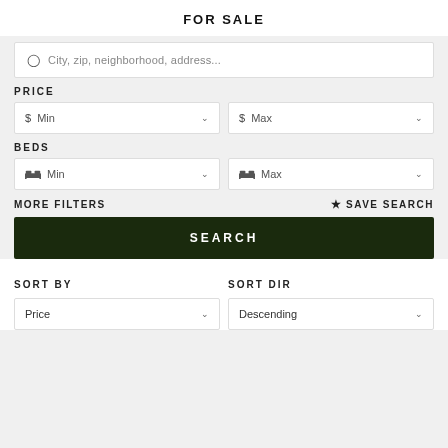FOR SALE
City, zip, neighborhood, address...
PRICE
$ Min
$ Max
BEDS
Min
Max
MORE FILTERS
SAVE SEARCH
SEARCH
SORT BY
SORT DIR
Price
Descending